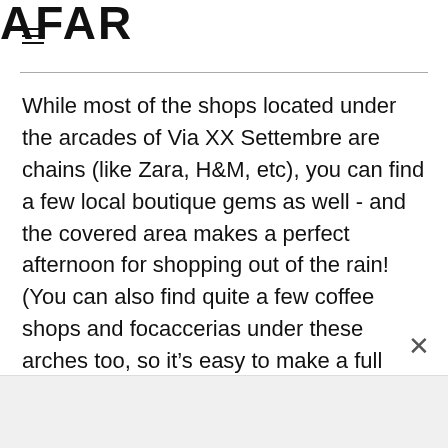AFAR
While most of the shops located under the arcades of Via XX Settembre are chains (like Zara, H&M, etc), you can find a few local boutique gems as well - and the covered area makes a perfect afternoon for shopping out of the rain! (You can also find quite a few coffee shops and focaccerias under these arches too, so it’s easy to make a full afternoon here.)